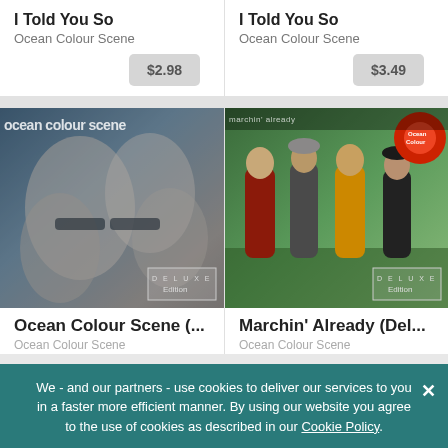I Told You So
Ocean Colour Scene
$2.98
I Told You So
Ocean Colour Scene
$3.49
[Figure (photo): Ocean Colour Scene album cover - Deluxe Edition, showing band members faces with blue/grey artistic overlay and 'ocean colour scene' text at top]
Ocean Colour Scene (...
Ocean Colour Scene
[Figure (photo): Marchin' Already album cover - Deluxe Edition, showing four band members standing outdoors with red circle logo at top right]
Marchin' Already (Del...
Ocean Colour Scene
We - and our partners - use cookies to deliver our services to you in a faster more efficient manner. By using our website you agree to the use of cookies as described in our Cookie Policy.